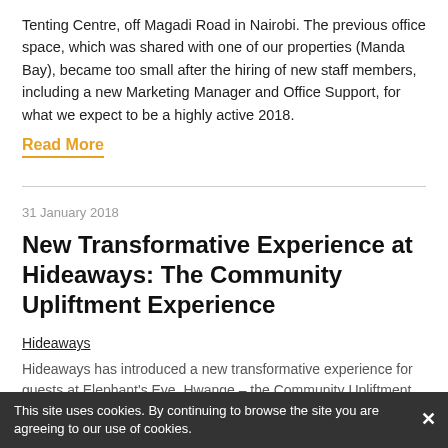Tenting Centre, off Magadi Road in Nairobi. The previous office space, which was shared with one of our properties (Manda Bay), became too small after the hiring of new staff members, including a new Marketing Manager and Office Support, for what we expect to be a highly active 2018.
Read More
31 January 2018
New Transformative Experience at Hideaways: The Community Upliftment Experience
Hideaways
Hideaways has introduced a new transformative experience for guests at Elephant's Eye, Hwange – the Community Upliftment
This site uses cookies. By continuing to browse the site you are agreeing to our use of cookies.